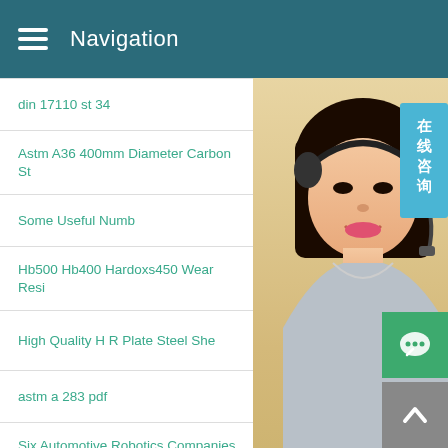Navigation
din 17110 st 34
Astm A36 400mm Diameter Carbon St
Some Useful Numb
Hb500 Hb400 Hardoxs450 Wear Resi
High Quality H R Plate Steel She
astm a 283 pdf
Six Automotive Robotics Companies To Keep In Mind Built
Compare prices on Np Fh40 Battery Shop best value Np
[Figure (photo): Customer service representative woman wearing headset, with online consultation badge in Chinese characters, manual service and quoting online overlay text]
MANUAL SERVICE
QUOTING ONLINE
Email: bsteel1@163.com